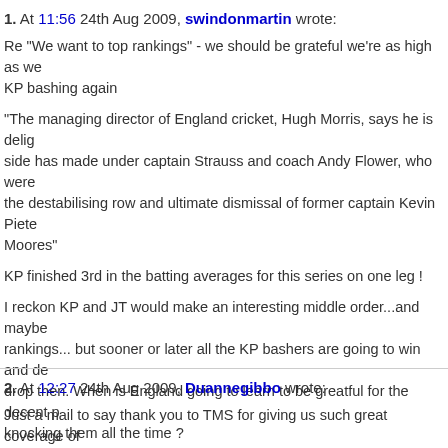1. At 11:56 24th Aug 2009, swindonmartin wrote:
Re "We want to top rankings" - we should be grateful we're as high as we... KP bashing again

"The managing director of England cricket, Hugh Morris, says he is delighted... side has made under captain Strauss and coach Andy Flower, who were ... the destabilising row and ultimate dismissal of former captain Kevin Piete... Moores"

KP finished 3rd in the batting averages for this series on one leg !

I reckon KP and JT would make an interesting middle order...and maybe... rankings... but sooner or later all the KP bashers are going to win and des... drop then. When is England going to learn to be greatful for the decent pl... knocking them all the time ?
2. At 12:27 24th Aug 2009, Duannegibbo wrote:
Just a mail to say thank you to TMS for giving us such great coverage of... commentators / co commentators and the way you bring the game to life... The f...